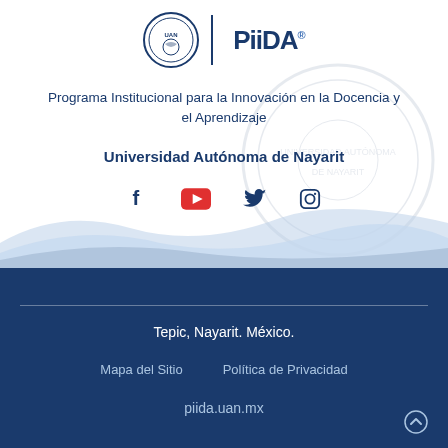[Figure (logo): University seal circle logo and PiiDA text logo with superscript i]
Programa Institucional para la Innovación en la Docencia y el Aprendizaje
Universidad Autónoma de Nayarit
[Figure (infographic): Social media icons: Facebook, YouTube (red), Twitter, Instagram]
Tepic, Nayarit. México.
Mapa del Sitio    Política de Privacidad
piida.uan.mx